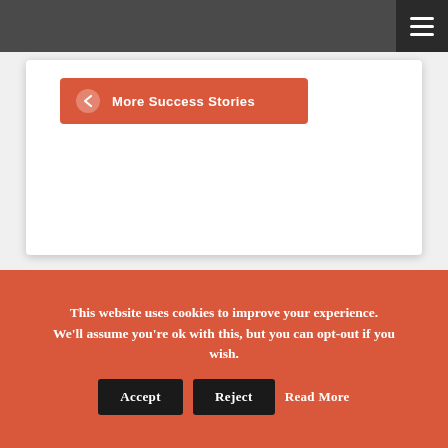More Success Stories
[Figure (logo): We Help Dogs .org logo — a stylized dark grey dog silhouette with an orange/red cape, above the text 'WE HELP DOGS .ORG' in bold stacked lettering with orange accent on HELP]
This website uses cookies to improve your experience. We'll assume you're ok with this, but you can opt-out if you wish. Accept Reject Read More